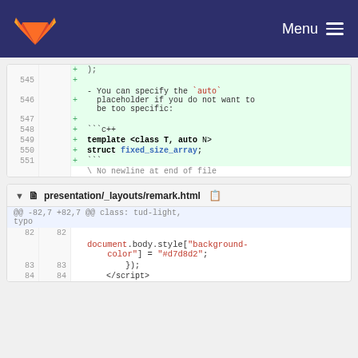Menu
[Figure (screenshot): GitLab diff view showing code changes. First diff block shows lines 545-551 with additions including text about auto placeholder and a C++ template struct fixed_size_array code block. Second diff block shows file presentation/_layouts/remark.html with lines 82-84 showing JavaScript document.body.style background-color change.]